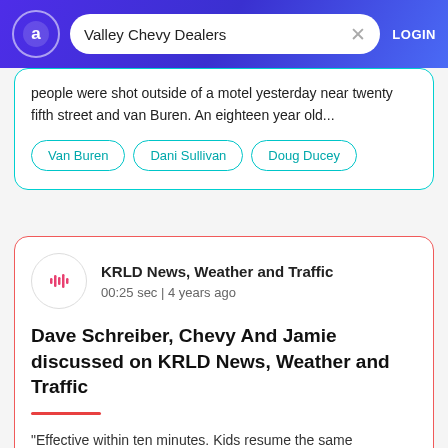Valley Chevy Dealers | LOGIN
people were shot outside of a motel yesterday near twenty fifth street and van Buren. An eighteen year old...
Van Buren
Dani Sullivan
Doug Ducey
KRLD News, Weather and Traffic
00:25 sec | 4 years ago
Dave Schreiber, Chevy And Jamie discussed on KRLD News, Weather and Traffic
"Effective within ten minutes. Kids resume the same unwanted behavior and repeated use can cause aggressive behavior along with negative parent-child...